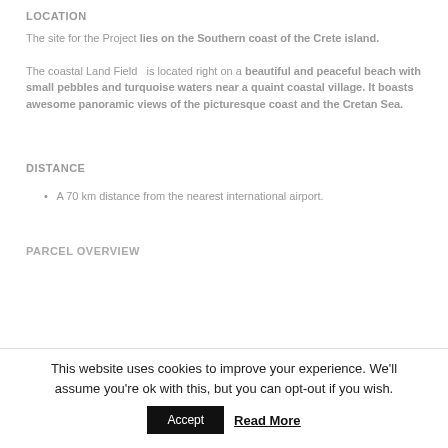LOCATION
The site for the Project lies on the Southern coast of the Crete island.
The coastal Land Field  is located right on a beautiful and peaceful beach with small pebbles and turquoise waters near a quaint coastal village. It boasts awesome panoramic views of the picturesque coast and the Cretan Sea.
DISTANCE
A 70 km distance from the nearest international airport.
PARCEL OVERVIEW
This website uses cookies to improve your experience. We'll assume you're ok with this, but you can opt-out if you wish.